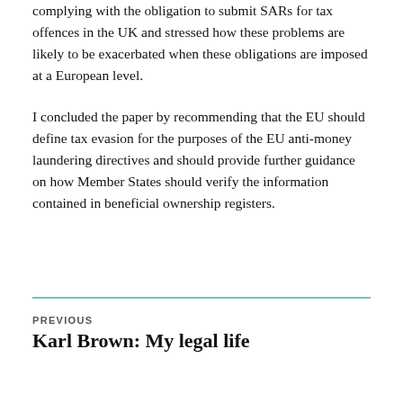complying with the obligation to submit SARs for tax offences in the UK and stressed how these problems are likely to be exacerbated when these obligations are imposed at a European level.
I concluded the paper by recommending that the EU should define tax evasion for the purposes of the EU anti-money laundering directives and should provide further guidance on how Member States should verify the information contained in beneficial ownership registers.
PREVIOUS
Karl Brown: My legal life